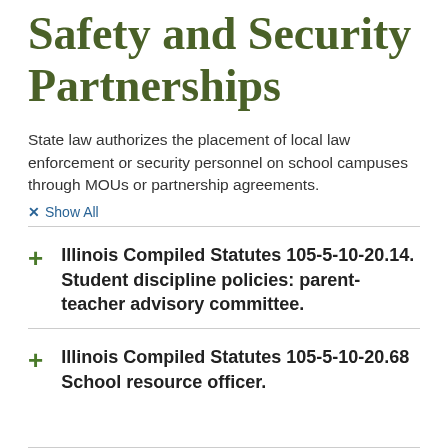Safety and Security Partnerships
State law authorizes the placement of local law enforcement or security personnel on school campuses through MOUs or partnership agreements.
✕ Show All
Illinois Compiled Statutes 105-5-10-20.14. Student discipline policies: parent-teacher advisory committee.
Illinois Compiled Statutes 105-5-10-20.68 School resource officer.